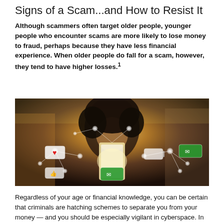Signs of a Scam...and How to Resist It
Although scammers often target older people, younger people who encounter scams are more likely to lose money to fraud, perhaps because they have less financial experience. When older people do fall for a scam, however, they tend to have higher losses.¹
[Figure (photo): Young woman with curly hair looking at her smartphone in a crowded outdoor setting with digital network connection icons overlaid on the image]
Regardless of your age or financial knowledge, you can be certain that criminals are hatching schemes to separate you from your money — and you should be especially vigilant in cyberspace. In a financial industry study, people